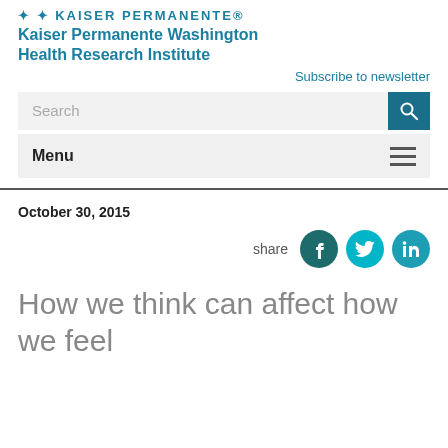KAISER PERMANENTE®
Kaiser Permanente Washington Health Research Institute
Subscribe to newsletter
October 30, 2015
share
How we think can affect how we feel